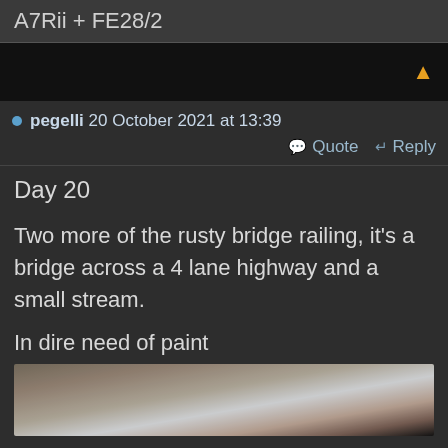A7Rii + FE28/2
[Figure (other): Black navigation bar with orange up arrow]
pegelli 20 October 2021 at 13:39
Quote  Reply
Day 20
Two more of the rusty bridge railing, it's a bridge across a 4 lane highway and a small stream.
In dire need of paint
[Figure (photo): Blurred close-up photo of rusty bridge railing, warm brown and grey tones]